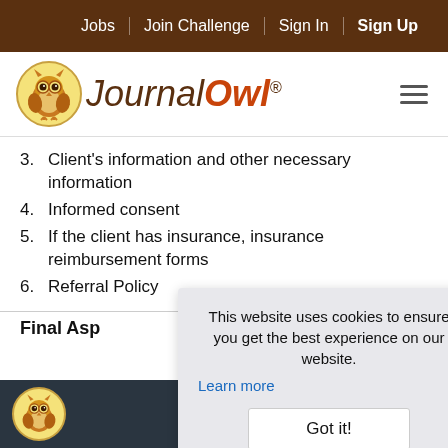Jobs | Join Challenge | Sign In | Sign Up
[Figure (logo): Journal Owl logo with owl icon and hamburger menu]
3. Client's information and other necessary information
4. Informed consent
5. If the client has insurance, insurance reimbursement forms
6. Referral Policy
Final Asp
This website uses cookies to ensure you get the best experience on our website. Learn more
Footer with Journal Owl logo